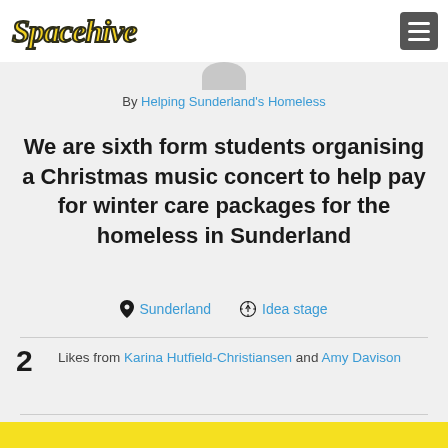[Figure (logo): Spacehive logo in yellow bold italic script with dark outline]
By Helping Sunderland's Homeless
We are sixth form students organising a Christmas music concert to help pay for winter care packages for the homeless in Sunderland
Sunderland   Idea stage
2  Likes from Karina Hutfield-Christiansen and Amy Davison
Like this project!